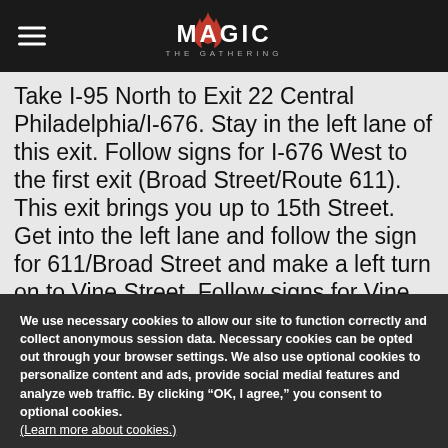[Figure (logo): Magic: The Gathering logo with red flame/claw icon on black navigation bar with hamburger menu icon]
Take I-95 North to Exit 22 Central Philadelphia/I-676. Stay in the left lane of this exit. Follow signs for I-676 West to the first exit (Broad Street/Route 611). This exit brings you up to 15th Street. Get into the left lane and follow the sign for 611/Broad Street and make a left turn on to Vine Street. Follow signs for Vine Street/PA Convention Center. Make a right on to
We use necessary cookies to allow our site to function correctly and collect anonymous session data. Necessary cookies can be opted out through your browser settings. We also use optional cookies to personalize content and ads, provide social medial features and analyze web traffic. By clicking “OK, I agree,” you consent to optional cookies. (Learn more about cookies.)